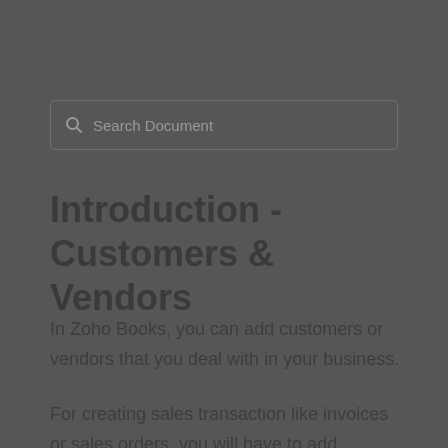[Figure (other): Search document input box with magnifying glass icon and placeholder text 'Search Document']
Introduction - Customers & Vendors
In Zoho Books, you can add customers or vendors that you deal with in your business.
For creating sales transaction like invoices or sales orders, you will have to add customers in your